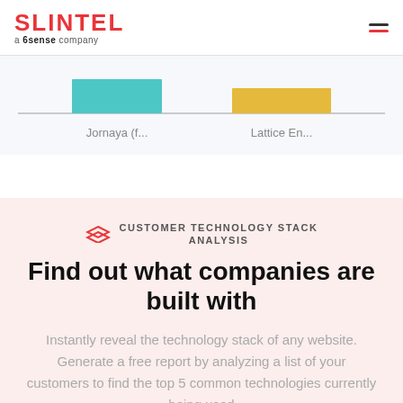SLINTEL a 6sense company
[Figure (bar-chart): Bar chart comparing Jornaya and Lattice Engines]
CUSTOMER TECHNOLOGY STACK ANALYSIS
Find out what companies are built with
Instantly reveal the technology stack of any website. Generate a free report by analyzing a list of your customers to find the top 5 common technologies currently being used